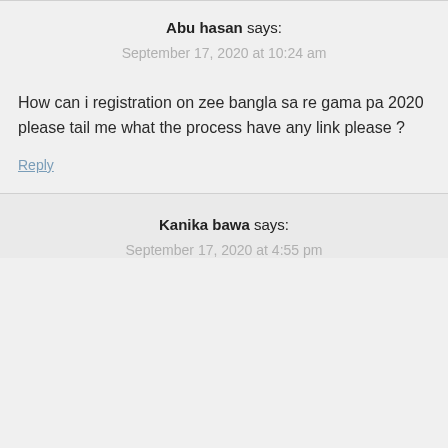Abu hasan says:
September 17, 2020 at 10:24 am
How can i registration on zee bangla sa re gama pa 2020 please tail me what the process have any link please ?
Reply
Kanika bawa says:
September 17, 2020 at 4:55 pm